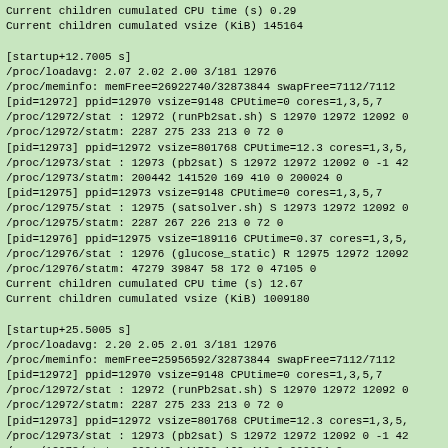Current children cumulated CPU time (s) 0.29
Current children cumulated vsize (KiB) 145164

[startup+12.7005 s]
/proc/loadavg: 2.07 2.02 2.00 3/181 12976
/proc/meminfo: memFree=26922740/32873844 swapFree=7112/7112
[pid=12972] ppid=12970 vsize=9148 CPUtime=0 cores=1,3,5,7
/proc/12972/stat : 12972 (runPb2sat.sh) S 12970 12972 12092 0
/proc/12972/statm: 2287 275 233 213 0 72 0
[pid=12973] ppid=12972 vsize=801768 CPUtime=12.3 cores=1,3,5,
/proc/12973/stat : 12973 (pb2sat) S 12972 12972 12092 0 -1 42
/proc/12973/statm: 200442 141520 169 410 0 200024 0
[pid=12975] ppid=12973 vsize=9148 CPUtime=0 cores=1,3,5,7
/proc/12975/stat : 12975 (satsolver.sh) S 12973 12972 12092 0
/proc/12975/statm: 2287 267 226 213 0 72 0
[pid=12976] ppid=12975 vsize=189116 CPUtime=0.37 cores=1,3,5,
/proc/12976/stat : 12976 (glucose_static) R 12975 12972 12092
/proc/12976/statm: 47279 39847 58 172 0 47105 0
Current children cumulated CPU time (s) 12.67
Current children cumulated vsize (KiB) 1009180

[startup+25.5005 s]
/proc/loadavg: 2.20 2.05 2.01 3/181 12976
/proc/meminfo: memFree=25956592/32873844 swapFree=7112/7112
[pid=12972] ppid=12970 vsize=9148 CPUtime=0 cores=1,3,5,7
/proc/12972/stat : 12972 (runPb2sat.sh) S 12970 12972 12092 0
/proc/12972/statm: 2287 275 233 213 0 72 0
[pid=12973] ppid=12972 vsize=801768 CPUtime=12.3 cores=1,3,5,
/proc/12973/stat : 12973 (pb2sat) S 12972 12972 12092 0 -1 42
/proc/12973/statm: 200442 141520 169 410 0 200024 0
[pid=12975] ppid=12973 vsize=9148 CPUtime=0 cores=1,3,5,7
/proc/12975/stat : 12975 (satsolver.sh) S 12973 12972 12092 0
/proc/12975/statm: 2287 267 226 213 0 72 0